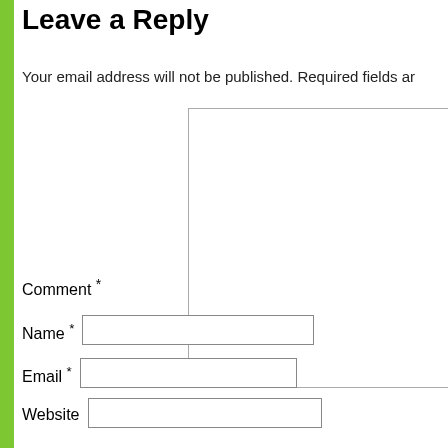Leave a Reply
Your email address will not be published. Required fields ar
Comment *
Name *
Email *
Website
Post Comment
« Backups for Geeks